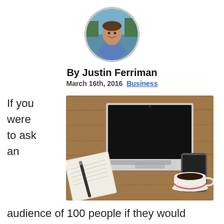[Figure (photo): Circular avatar photo of Justin Ferriman, a man smiling outdoors near water]
By Justin Ferriman
March 16th, 2016 Business
If you were to ask an
[Figure (photo): Overhead photo of a MacBook laptop, notebook with pen, smartphone, and coffee cup on a wooden desk]
audience of 100 people if they would classify